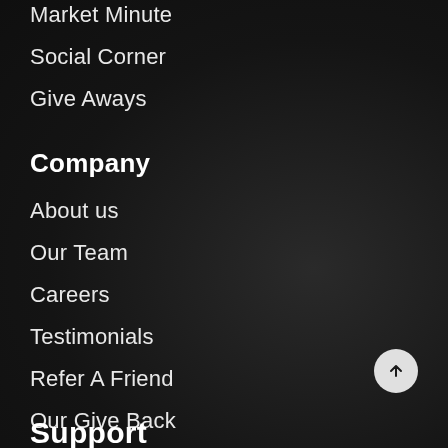Market Minute
Social Corner
Give Aways
Company
About us
Our Team
Careers
Testimonials
Refer A Friend
Our Give Back
Support